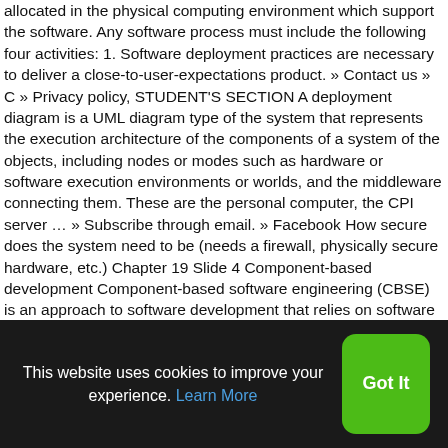allocated in the physical computing environment which support the software. Any software process must include the following four activities: 1. Software deployment practices are necessary to deliver a close-to-user-expectations product. » Contact us » C » Privacy policy, STUDENT'S SECTION A deployment diagram is a UML diagram type of the system that represents the execution architecture of the components of a system of the objects, including nodes or modes such as hardware or software execution environments or worlds, and the middleware connecting them. These are the personal computer, the CPI server … » Subscribe through email. » Facebook How secure does the system need to be (needs a firewall, physically secure hardware, etc.) Chapter 19 Slide 4 Component-based development Component-based software engineering (CBSE) is an approach to software development that relies on software reuse. Web Technologies: 2. » Embedded C » O.S. At this point it is designed on a higher level.
This website uses cookies to improve your experience. Learn More